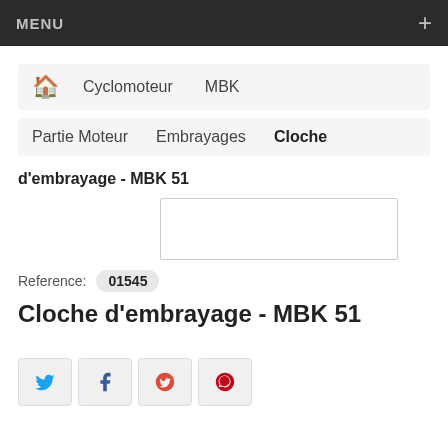MENU +
🏠  Cyclomoteur  MBK
Partie Moteur  Embrayages  Cloche
d'embrayage - MBK 51
[Figure (photo): Empty product image box]
Reference: 01545
Cloche d'embrayage - MBK 51
Twitter Facebook Google+ Pinterest social share buttons